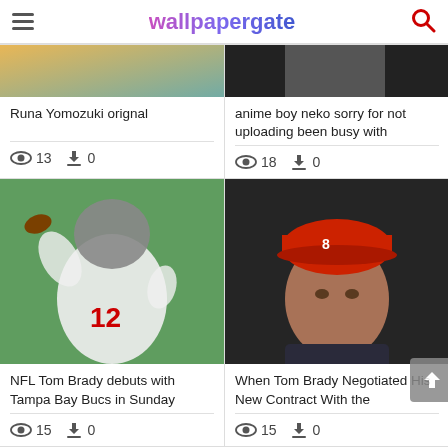wallpapergate
[Figure (photo): Runa Yomozuki original – partial anime image]
Runa Yomozuki orignal
13   0
[Figure (photo): anime boy neko – partial image]
anime boy neko sorry for not uploading been busy with
18   0
[Figure (photo): NFL Tom Brady in Tampa Bay Buccaneers jersey number 12, throwing football]
NFL Tom Brady debuts with Tampa Bay Bucs in Sunday
15   0
[Figure (photo): Tom Brady wearing a red cap, portrait photo]
When Tom Brady Negotiated His New Contract With the
15   0